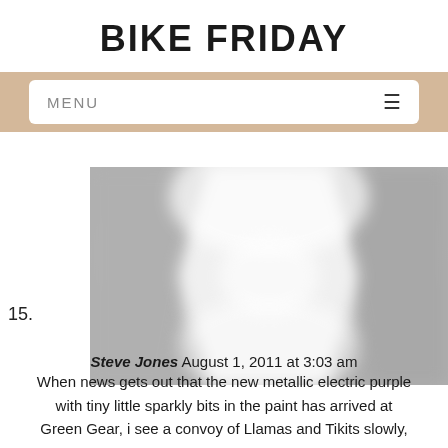BIKE FRIDAY
MENU ☰
15.
[Figure (photo): A blurred close-up photograph of what appears to be a bicycle component, showing grey and white tones with soft focus blur effects.]
Steve Jones August 1, 2011 at 3:03 am
When news gets out that the new metallic electric purple with tiny little sparkly bits in the paint has arrived at Green Gear, i see a convoy of Llamas and Tikits slowly,